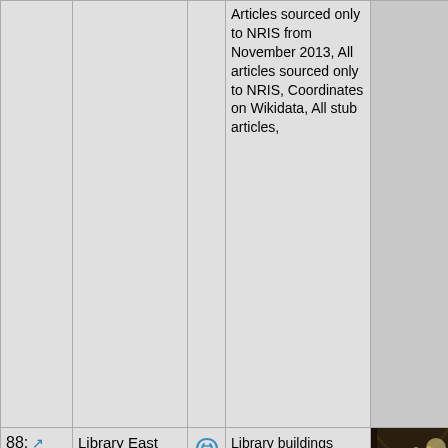| # | Name |  | Description | Image |
| --- | --- | --- | --- | --- |
|  |  |  | Articles sourced only to NRIS from November 2013, All articles sourced only to NRIS, Coordinates on Wikidata, All stub articles, |  |
| 88: 13.6mi | Library East (Gainesville, Florida) | [link] | Library buildings completed in 1926, National Register of Historic Places in Alachua County, Florida, Buildings at the University of Florida, William Augustus Edwards buildings, Historic Florida architecture | [photo of library interior] |
[Figure (photo): Interior of Library East at the University of Florida, showing a large reading room with high vaulted ceiling, arched windows, wooden beams, rows of tables, and bookshelves.]